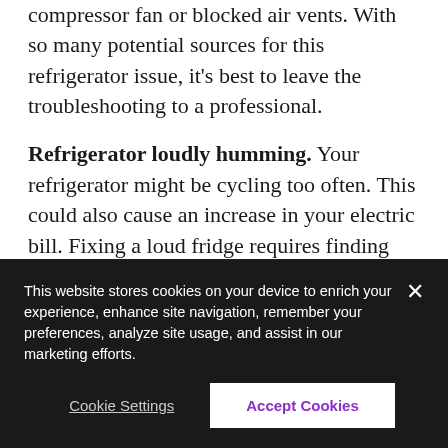compressor fan or blocked air vents. With so many potential sources for this refrigerator issue, it's best to leave the troubleshooting to a professional.
Refrigerator loudly humming. Your refrigerator might be cycling too often. This could also cause an increase in your electric bill. Fixing a loud fridge requires finding and cleaning the condenser coils or resetting the thermostat.
Whatever the problem, your local Huntington Beach, CA Asurion refrigerator repair experts are here to assist. Call on Asurion, and we can fix your fridge as soon as the next day.
This website stores cookies on your device to enrich your experience, enhance site navigation, remember your preferences, analyze site usage, and assist in our marketing efforts.
Cookie Settings
Accept Cookies